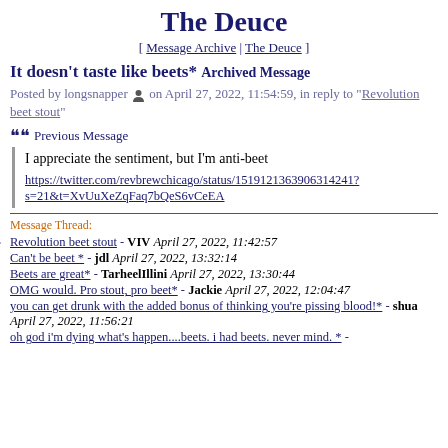The Deuce
[ Message Archive | The Deuce ]
It doesn't taste like beets* Archived Message
Posted by longsnapper [icon] on April 27, 2022, 11:54:59, in reply to "Revolution beet stout"
Previous Message
I appreciate the sentiment, but I'm anti-beet
https://twitter.com/revbrewchicago/status/1519121363906314241?s=21&t=XvUuXeZqFaq7bQeS6vCeEA
Message Thread:
Revolution beet stout - VIV April 27, 2022, 11:42:57
Can't be beet * - jdl April 27, 2022, 13:32:14
Beets are great* - TarheelIllini April 27, 2022, 13:30:44
OMG would. Pro stout, pro beet* - Jackie April 27, 2022, 12:04:47
you can get drunk with the added bonus of thinking you're pissing blood!* - shua April 27, 2022, 11:56:21
oh god i'm dying what's happen....beets. i had beets. never mind. * -